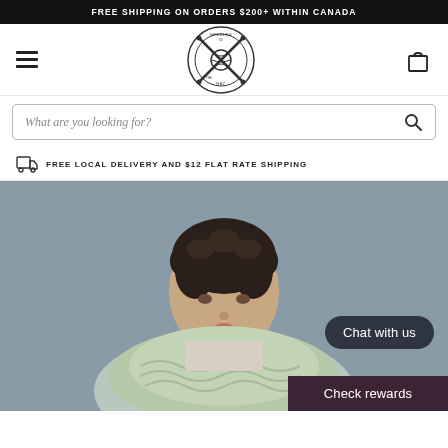FREE SHIPPING ON ORDERS $200+ WITHIN CANADA
[Figure (logo): Needles in the Hay yarn shop logo — circular badge with crossed knitting needles and yarn ball]
What are you looking for?
FREE LOCAL DELIVERY AND $12 FLAT RATE SHIPPING
[Figure (photo): Young woman with curly hair wearing a chunky knit sage green cowl scarf, photographed against a grey background]
Chat with us
Check rewards